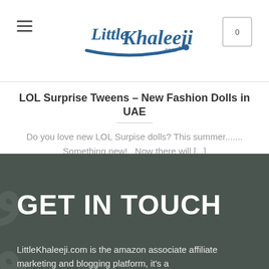[Figure (logo): Little Khaleeji .com logo in blue cursive/script font with shopping cart icon and hamburger menu]
LOL Surprise Tweens – New Fashion Dolls in UAE
Do you love new LOL Surpise dolls? This summer....... Something new!   Now there will [...]
GET IN TOUCH
LittleKhaleeji.com is the amazon associate affiliate marketing and blogging platform, it's a